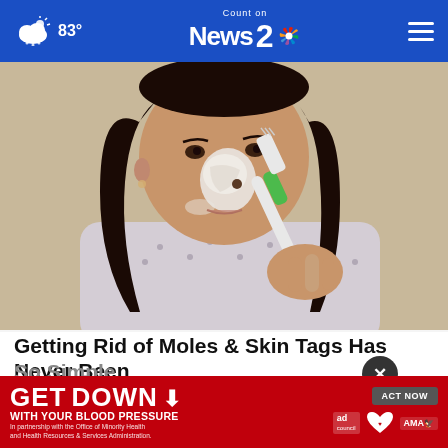83° Count on News 2
[Figure (photo): Young woman applying white cream to her nose and face with a green-handled toothbrush, wearing a patterned top, close-up selfie style photo]
Getting Rid of Moles & Skin Tags Has Never Been So Simple
Mole
[Figure (infographic): Advertisement banner: GET DOWN (with down arrow) WITH YOUR BLOOD PRESSURE - In partnership with the Office of Minority Health and Health Resources & Services Administration. ACT NOW button. Ad Council, American Heart Association, and AMA logos.]